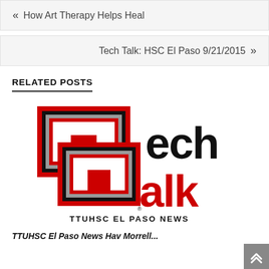« How Art Therapy Helps Heal
Tech Talk: HSC El Paso 9/21/2015 »
RELATED POSTS
[Figure (logo): Tech Talk TTUHSC El Paso News logo — large stylized TT double-T letters in red and black, with 'alk' in red, forming 'Tech Talk', and 'TTUHSC EL PASO NEWS' in black below]
TTUHSC El Paso News Hav Morrell...